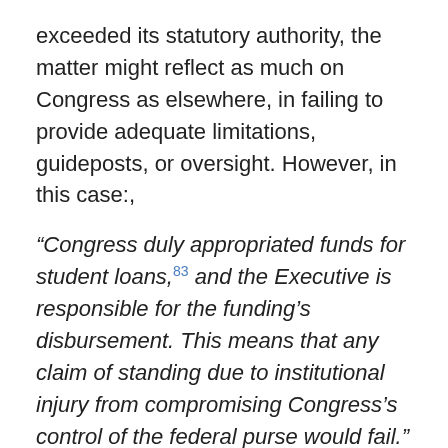exceeded its statutory authority, the matter might reflect as much on Congress as elsewhere, in failing to provide adequate limitations, guideposts, or oversight. However, in this case:,
“Congress duly appropriated funds for student loans,83 and the Executive is responsible for the funding’s disbursement. This means that any claim of standing due to institutional injury from compromising Congress’s control of the federal purse would fail.”
Here again, it will be left to settle by the political branches of government. To avoid such conflicts, it is up to the legislature to write laws that bind the discretion of the executive to varying degrees. Unrestrained entitlements are a damn good way to cede control of the “keys to the Treasury”.